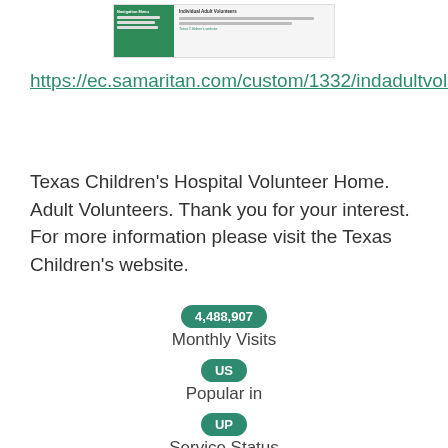[Figure (screenshot): Thumbnail screenshot of Individual Adult Volunteers page with green navigation sidebar and content area]
https://ec.samaritan.com/custom/1332/indadultvols.html
Texas Children's Hospital Volunteer Home. Adult Volunteers. Thank you for your interest. For more information please visit the Texas Children's website.
4,488,907
Monthly Visits
US
Popular in
UP
Service Status
20h ago
Last Checked